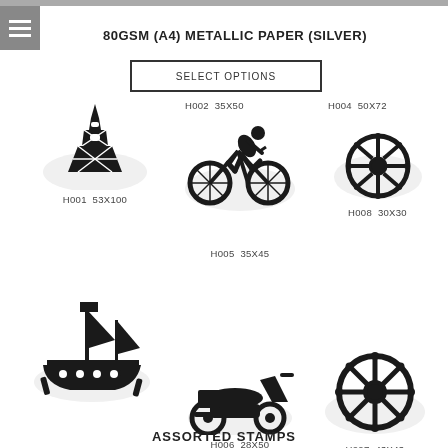80GSM (A4) METALLIC PAPER (SILVER)
SELECT OPTIONS
[Figure (illustration): Eiffel Tower stamp silhouette, H001 53X100]
H001  53X100
[Figure (illustration): Cyclist on bicycle stamp silhouette, H002 35X50]
H002  35X50
H005  35X45
[Figure (illustration): Ship wheel stamp silhouette, H004 50X72]
H004  50X72
[Figure (illustration): Ship wheel stamp silhouette smaller, H008 30X30]
H008  30X30
[Figure (illustration): Pirate ship stamp silhouette]
[Figure (illustration): Scooter/moped stamp silhouette, H006 28X50]
H006  28X50
[Figure (illustration): Ship wheel large stamp silhouette, H007 43X43]
H007  43X43
ASSORTED STAMPS